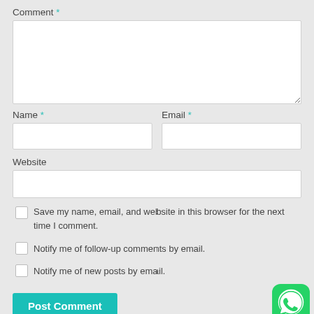Comment *
Name *
Email *
Website
Save my name, email, and website in this browser for the next time I comment.
Notify me of follow-up comments by email.
Notify me of new posts by email.
Post Comment